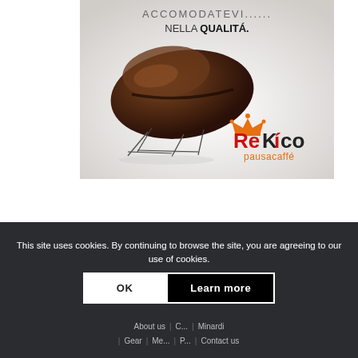[Figure (photo): ReKico pausacaffé advertisement showing a coffee bean styled as a chair/sofa sitting on thin metal legs, with text 'ACCOMODATEVI...... NELLA QUALITÁ.' at the top and the ReKico pausacaffé logo in orange and red at the bottom right.]
This site uses cookies. By continuing to browse the site, you are agreeing to our use of cookies.
OK
Learn more
About us | C... Minardi | Gear | Me... P... Contact us